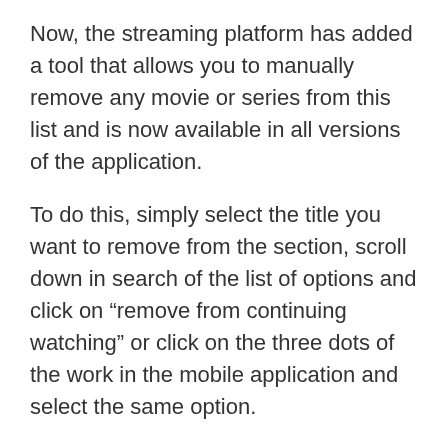Now, the streaming platform has added a tool that allows you to manually remove any movie or series from this list and is now available in all versions of the application.
To do this, simply select the title you want to remove from the section, scroll down in search of the list of options and click on “remove from continuing watching” or click on the three dots of the work in the mobile application and select the same option.
Thus, you can have more control over which titles will appear on your list, which was not possible in the past, as movies and series were only removed from the place when new works were added.
Although not a big change to the dynamics of the platform, this feature can greatly help those who like to organize their